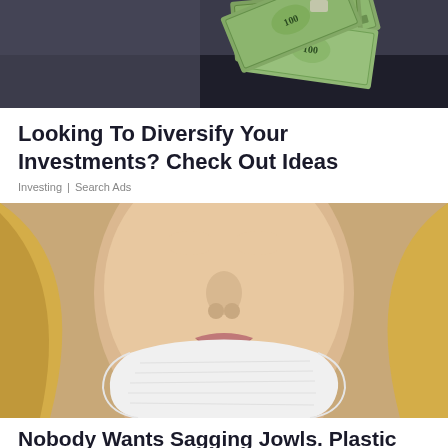[Figure (photo): Photo of US dollar bills spread out on a dark surface]
Looking To Diversify Your Investments? Check Out Ideas
Investing | Search Ads
[Figure (photo): Close-up photo of a woman's face with a white chin/jaw bandage wrap, blonde hair, post-surgery appearance]
Nobody Wants Sagging Jowls. Plastic Surgeon